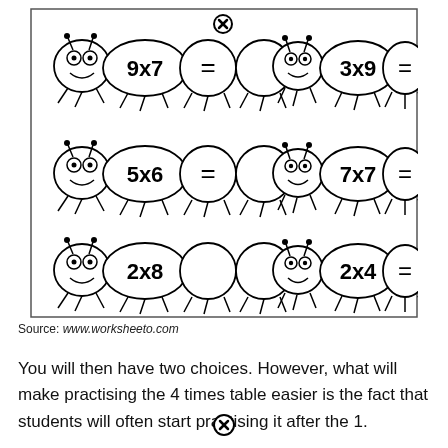[Figure (illustration): Caterpillar-themed multiplication worksheet with 6 caterpillars arranged in 3 rows of 2. Each caterpillar has a head with eyes and antennae, a body segment showing a multiplication equation (9x7=, 3x9=, 5x6=, 7x7=, 2x8, 2x4=), an equals sign segment, and a blank answer segment. A close/cancel icon (circled X) appears at the top center. The caterpillars are drawn in a cartoon style with black outlines on white background, enclosed in a rectangle.]
Source: www.worksheeto.com
You will then have two choices. However, what will make practising the 4 times table easier is the fact that students will often start practising it after the 1.
[Figure (illustration): A circled X (close/cancel) icon at the bottom center of the page.]